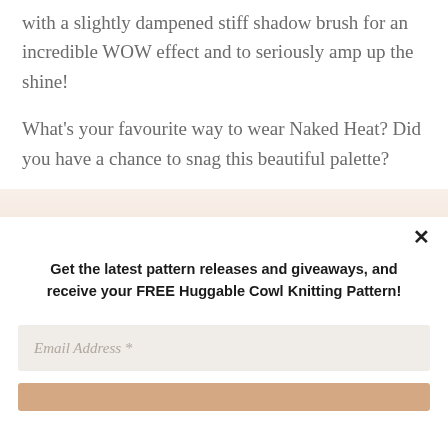with a slightly dampened stiff shadow brush for an incredible WOW effect and to seriously amp up the shine!
What's your favourite way to wear Naked Heat? Did you have a chance to snag this beautiful palette?
Get the latest pattern releases and giveaways, and receive your FREE Huggable Cowl Knitting Pattern!
Email Address *